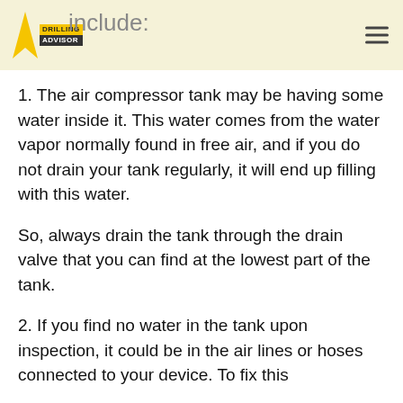include:
1. The air compressor tank may be having some water inside it. This water comes from the water vapor normally found in free air, and if you do not drain your tank regularly, it will end up filling with this water.
So, always drain the tank through the drain valve that you can find at the lowest part of the tank.
2. If you find no water in the tank upon inspection, it could be in the air lines or hoses connected to your device. To fix this